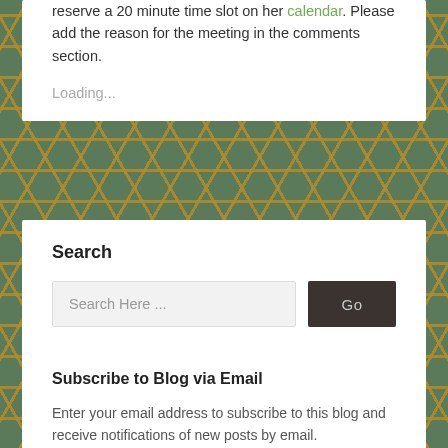reserve a 20 minute time slot on her calendar. Please add the reason for the meeting in the comments section.
Loading...
Search
Search Here ...
Subscribe to Blog via Email
Enter your email address to subscribe to this blog and receive notifications of new posts by email.